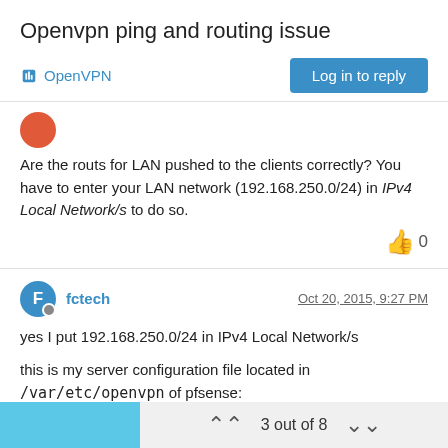Openvpn ping and routing issue
OpenVPN
Are the routs for LAN pushed to the clients correctly? You have to enter your LAN network (192.168.250.0/24) in IPv4 Local Network/s to do so.
0
fctech   Oct 20, 2015, 9:27 PM
yes I put 192.168.250.0/24 in IPv4 Local Network/s
this is my server configuration file located in /var/etc/openvpn of pfsense:
dev ovpns1
verb 3
3 out of 8